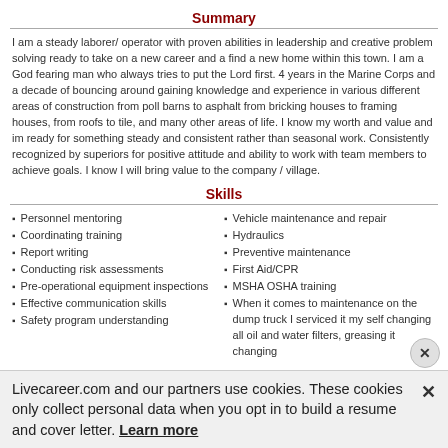Summary
I am a steady laborer/ operator with proven abilities in leadership and creative problem solving ready to take on a new career and a find a new home within this town. I am a God fearing man who always tries to put the Lord first. 4 years in the Marine Corps and a decade of bouncing around gaining knowledge and experience in various different areas of construction from poll barns to asphalt from bricking houses to framing houses, from roofs to tile, and many other areas of life. I know my worth and value and im ready for something steady and consistent rather than seasonal work. Consistently recognized by superiors for positive attitude and ability to work with team members to achieve goals. I know I will bring value to the company / village.
Skills
Personnel mentoring
Coordinating training
Report writing
Conducting risk assessments
Pre-operational equipment inspections
Effective communication skills
Safety program understanding
Vehicle maintenance and repair
Hydraulics
Preventive maintenance
First Aid/CPR
MSHA OSHA training
When it comes to maintenance on the dump truck I serviced it my self changing all oil and water filters, greasing it changing
Livecareer.com and our partners use cookies. These cookies only collect personal data when you opt in to build a resume and cover letter. Learn more